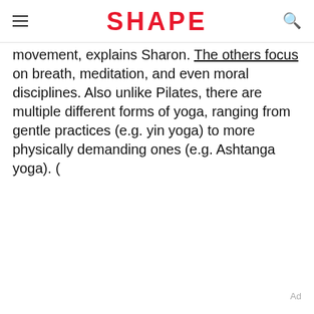SHAPE
movement, explains Sharon. The others focus on breath, meditation, and even moral disciplines. Also unlike Pilates, there are multiple different forms of yoga, ranging from gentle practices (e.g. yin yoga) to more physically demanding ones (e.g. Ashtanga yoga). (
Ad